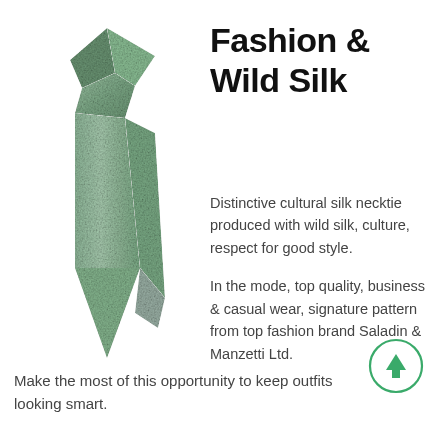[Figure (photo): A green/sage colored silk necktie laid diagonally, showing the knot at top and pointed tip at bottom. The tie has a subtle textured pattern.]
Fashion & Wild Silk
Distinctive cultural silk necktie produced with wild silk, culture, respect for good style.
In the mode, top quality, business & casual wear, signature pattern from top fashion brand Saladin & Manzetti Ltd.
Make the most of this opportunity to keep outfits looking smart.